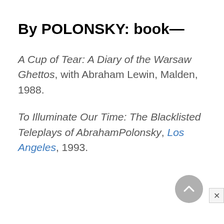By POLONSKY: book—
A Cup of Tear: A Diary of the Warsaw Ghettos, with Abraham Lewin, Malden, 1988.
To Illuminate Our Time: The Blacklisted Teleplays of AbrahamPolonsky, Los Angeles, 1993.